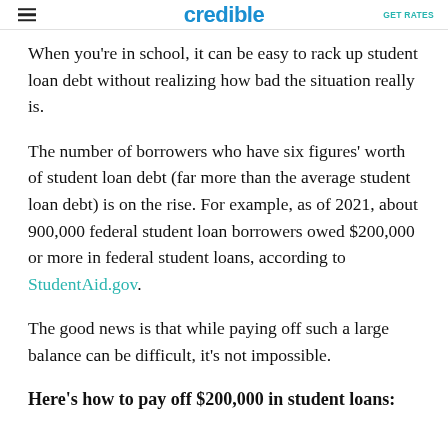credible
When you're in school, it can be easy to rack up student loan debt without realizing how bad the situation really is.
The number of borrowers who have six figures' worth of student loan debt (far more than the average student loan debt) is on the rise. For example, as of 2021, about 900,000 federal student loan borrowers owed $200,000 or more in federal student loans, according to StudentAid.gov.
The good news is that while paying off such a large balance can be difficult, it's not impossible.
Here's how to pay off $200,000 in student loans: